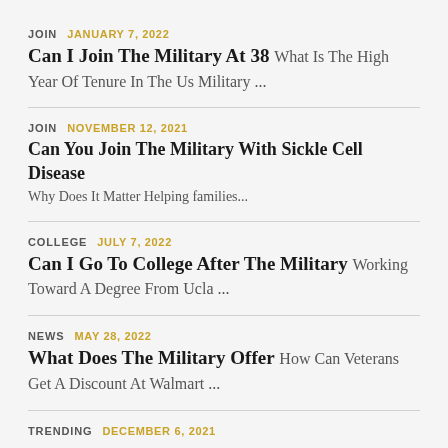JOIN  JANUARY 7, 2022 — Can I Join The Military At 38  What Is The High Year Of Tenure In The Us Military ...
JOIN  NOVEMBER 12, 2021 — Can You Join The Military With Sickle Cell Disease  Why Does It Matter Helping families...
COLLEGE  JULY 7, 2022 — Can I Go To College After The Military  Working Toward A Degree From Ucla ...
NEWS  MAY 28, 2022 — What Does The Military Offer  How Can Veterans Get A Discount At Walmart ...
TRENDING  DECEMBER 6, 2021